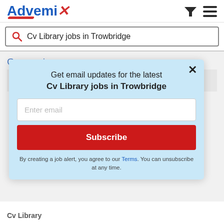Advemix
Cv Library jobs in Trowbridge
Gas engineer
Cv Library
Advemix uses first-party and third-party
Get email updates for the latest Cv Library jobs in Trowbridge
Enter email
Subscribe
By creating a job alert, you agree to our Terms. You can unsubscribe at any time.
Cv Library